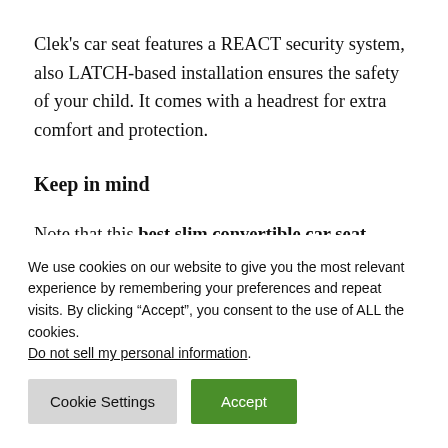Clek's car seat features a REACT security system, also LATCH-based installation ensures the safety of your child. It comes with a headrest for extra comfort and protection.
Keep in mind
Note that this best slim convertible car seat
We use cookies on our website to give you the most relevant experience by remembering your preferences and repeat visits. By clicking “Accept”, you consent to the use of ALL the cookies. Do not sell my personal information.